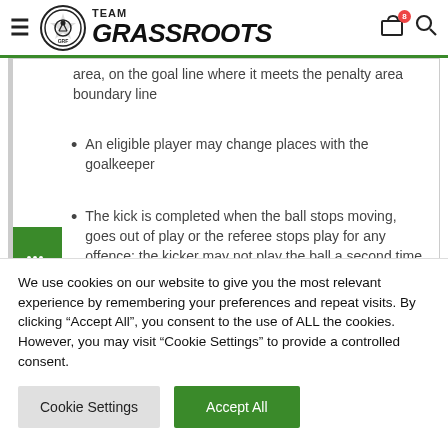Team Grassroots
area, on the goal line where it meets the penalty area boundary line
An eligible player may change places with the goalkeeper
The kick is completed when the ball stops moving, goes out of play or the referee stops play for any offence; the kicker may not play the ball a second time
We use cookies on our website to give you the most relevant experience by remembering your preferences and repeat visits. By clicking “Accept All”, you consent to the use of ALL the cookies. However, you may visit "Cookie Settings" to provide a controlled consent.